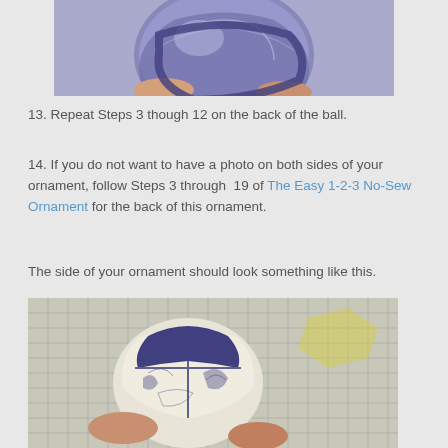[Figure (photo): Close-up photo of a blue and white quilted fabric ornament ball held by fingers, showing patterned toile fabric pieces arranged in sections]
13. Repeat Steps 3 though 12 on the back of the ball.
14. If you do not want to have a photo on both sides of your ornament, follow Steps 3 through 19 of The Easy 1-2-3 No-Sew Ornament for the back of this ornament.
The side of your ornament should look something like this.
[Figure (photo): Photo of the side of a completed ornament showing blue toile fabric sections arranged around the ball, held by fingers, placed on a cutting mat grid]